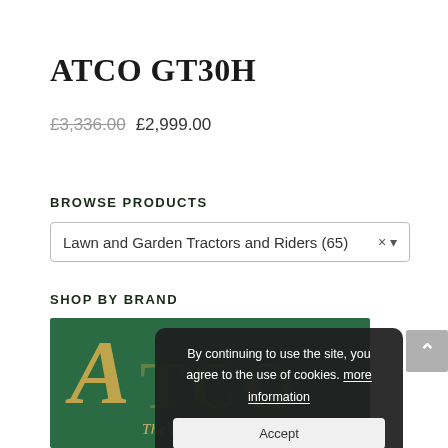ATCO GT30H
£3,336.00 £2,999.00
BROWSE PRODUCTS
Lawn and Garden Tractors and Riders (65)
SHOP BY BRAND
[Figure (logo): ATCO brand logo on green background with golden A letter and tagline 'The Finest Cut of All']
By continuing to use the site, you agree to the use of cookies. more information
Accept